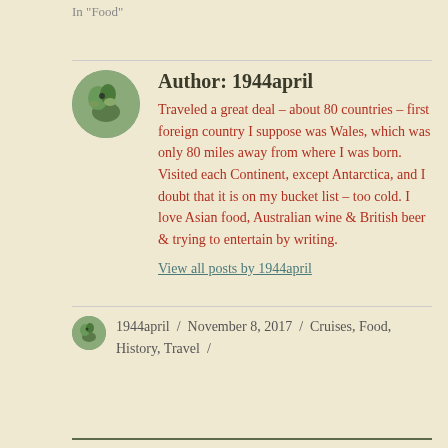In "Food"
Author: 1944april
Traveled a great deal – about 80 countries – first foreign country I suppose was Wales, which was only 80 miles away from where I was born. Visited each Continent, except Antarctica, and I doubt that it is on my bucket list – too cold. I love Asian food, Australian wine & British beer & trying to entertain by writing.
View all posts by 1944april
1944april / November 8, 2017 / Cruises, Food, History, Travel /